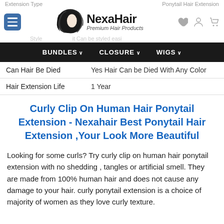Extension Type | Ponytail Hair Extension
[Figure (logo): NexaHair logo with woman silhouette and hair, text reads NexaHair Premium Hair Products]
BUNDLES  CLOSURE  WIGS
| Can Hair Be Died | Yes Hair Can be Died With Any Color |
| Hair Extension Life | 1 Year |
Curly Clip On Human Hair Ponytail Extension - Nexahair Best Ponytail Hair Extension ,Your Look More Beautiful
Looking for some curls? Try curly clip on human hair ponytail extension with no shedding , tangles or artificial smell. They are made from 100% human hair and does not cause any damage to your hair. curly ponytail extension is a choice of majority of women as they love curly texture.